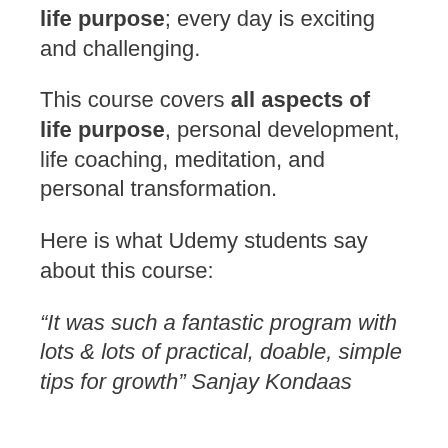life purpose; every day is exciting and challenging.
This course covers all aspects of life purpose, personal development, life coaching, meditation, and personal transformation.
Here is what Udemy students say about this course:
“It was such a fantastic program with lots & lots of practical, doable, simple tips for growth” Sanjay Kondaas